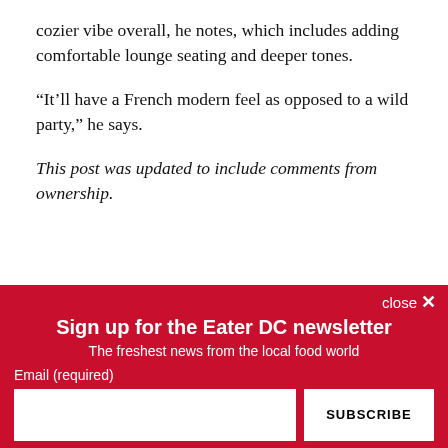cozier vibe overall, he notes, which includes adding comfortable lounge seating and deeper tones.
“It’ll have a French modern feel as opposed to a wild party,” he says.
This post was updated to include comments from ownership.
Chef Ryan Hackney Has Left Logan Circle Restaurant
Sign up for the Eater DC newsletter
The freshest news from the local food world
Email (required)
SUBSCRIBE
By submitting your email, you agree to our Terms and Privacy Notice. You can opt out at any time. This site is protected by reCAPTCHA and the Google Privacy Policy and Terms of Service apply.